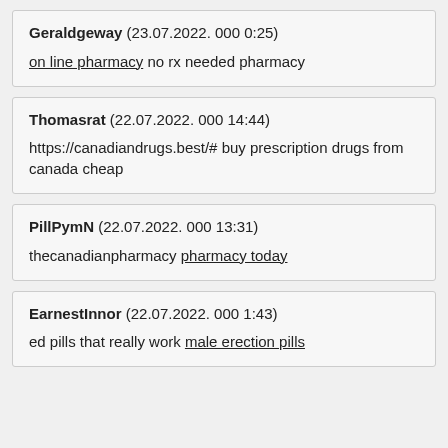Geraldgeway (23.07.2022. 000 0:25)
on line pharmacy no rx needed pharmacy
Thomasrat (22.07.2022. 000 14:44)
https://canadiandrugs.best/# buy prescription drugs from canada cheap
PillPymN (22.07.2022. 000 13:31)
thecanadianpharmacy pharmacy today
EarnestInnor (22.07.2022. 000 1:43)
ed pills that really work male erection pills